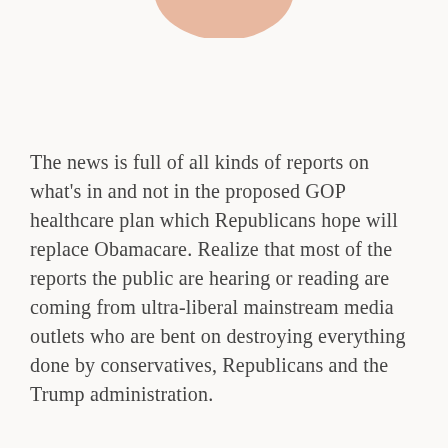[Figure (photo): Partial photo of a person visible at the top of the page, cropped to show only the lower portion (skin/neck area).]
The news is full of all kinds of reports on what's in and not in the proposed GOP healthcare plan which Republicans hope will replace Obamacare. Realize that most of the reports the public are hearing or reading are coming from ultra-liberal mainstream media outlets who are bent on destroying everything done by conservatives, Republicans and the Trump administration.
The relationship between liberals (mainstream media and Democrats) and conservatives (Republicans and Christians) has been described in terms generally used in divorce cases – IRRECONCILABLE DIFFERENCES.